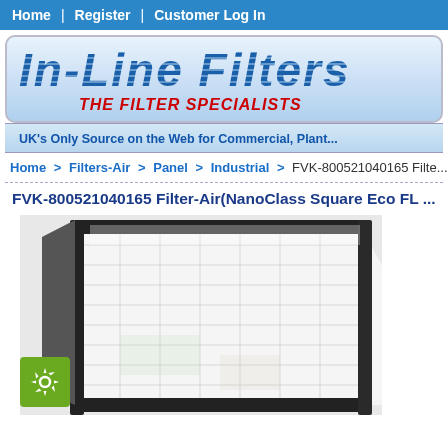Home | Register | Customer Log In
[Figure (logo): In-Line Filters logo with tagline THE FILTER SPECIALISTS on gradient blue background]
UK's Only Source on the Web for Commercial, Plant...
Home > Filters-Air > Panel > Industrial > FVK-800521040165 Filte...
FVK-800521040165 Filter-Air(NanoClass Square Eco FL ...
[Figure (photo): Close-up photo of an industrial air filter panel with dark frame and white filter media, angled view]